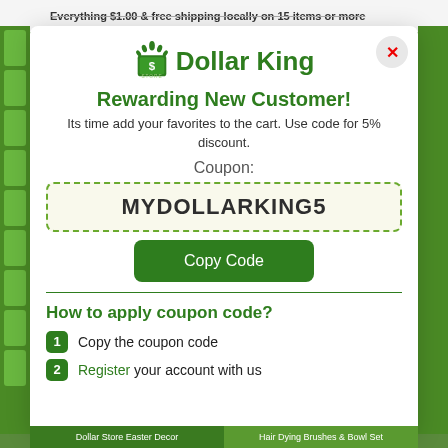Everything $1.00 & free shipping locally on 15 items or more
[Figure (logo): Dollar King store logo with crown icon]
Rewarding New Customer!
Its time add your favorites to the cart. Use code for 5% discount.
Coupon:
MYDOLLARKING5
Copy Code
How to apply coupon code?
Copy the coupon code
Register your account with us
Dollar Store Easter Decor | Hair Dying Brushes & Bowl Set